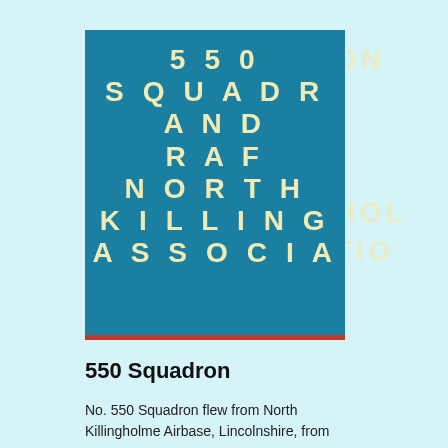[Figure (logo): 550 Squadron and RAF North Killingholme Association logo — teal/blue square with cream bold uppercase text reading '550 SQUADRON AND RAF NORTH KILLING ASSOCIA' with overflow letters 'ON', 'HOL', 'TIO' in lighter cream on the right, and a red bar at the bottom.]
550 Squadron
No. 550 Squadron flew from North Killingholme Airbase, Lincolnshire, from